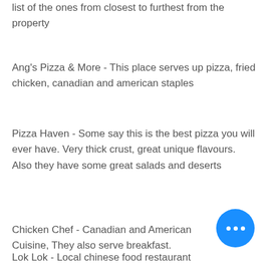list of the ones from closest to furthest from the property
Ang's Pizza & More - This place serves up pizza, fried chicken, canadian and american staples
Pizza Haven - Some say this is the best pizza you will ever have. Very thick crust, great unique flavours. Also they have some great salads and deserts
Chicken Chef - Canadian and American Cuisine, They also serve breakfast.
Lok Lok - Local chinese food restaurant